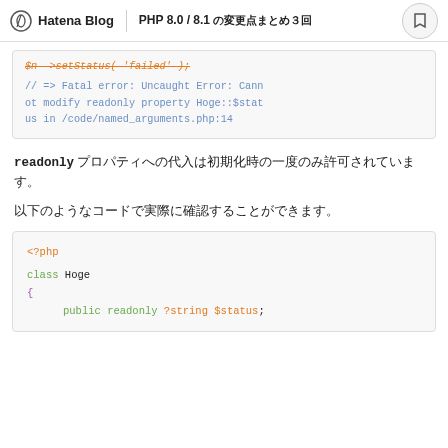Hatena Blog | PHP 8.0 / 8.1 の変更点まとめ3回
[Figure (screenshot): PHP code block showing setStatus('failed') call with strikethrough, and a comment showing Fatal error: Uncaught Error: Cannot modify readonly property Hoge::$status in /code/named_arguments.php:14]
readonly プロパティへの代入は初期化時の一度のみ許可されています。
以下のようなコードで実際に確認することができます。
[Figure (screenshot): PHP code block showing: <?php class Hoge { public readonly ?string $status;]